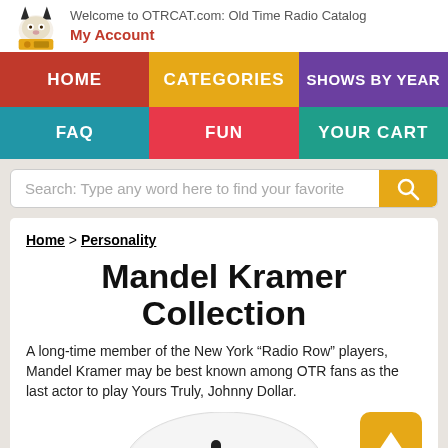Welcome to OTRCAT.com: Old Time Radio Catalog
My Account
HOME | CATEGORIES | SHOWS BY YEAR | FAQ | FUN | YOUR CART
Search: Type any word here to find your favorite
Home > Personality
Mandel Kramer Collection
A long-time member of the New York “Radio Row” players, Mandel Kramer may be best known among OTR fans as the last actor to play Yours Truly, Johnny Dollar.
[Figure (illustration): CD disc with 'Mandel Kramer' text and microphone graphic]